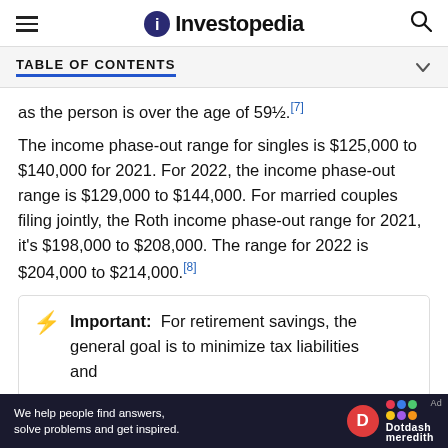Investopedia
TABLE OF CONTENTS
as the person is over the age of 59½. [7]
The income phase-out range for singles is $125,000 to $140,000 for 2021. For 2022, the income phase-out range is $129,000 to $144,000. For married couples filing jointly, the Roth income phase-out range for 2021, it's $198,000 to $208,000. The range for 2022 is $204,000 to $214,000. [8]
Important: For retirement savings, the general goal is to minimize tax liabilities and